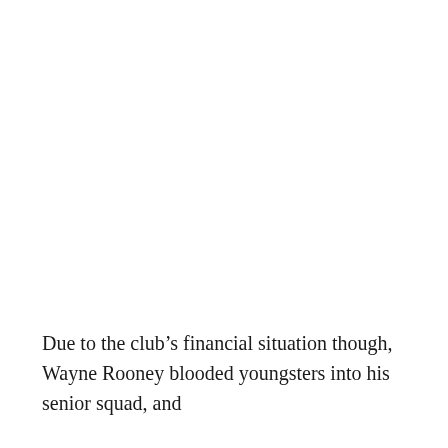Due to the club’s financial situation though, Wayne Rooney blooded youngsters into his senior squad, and